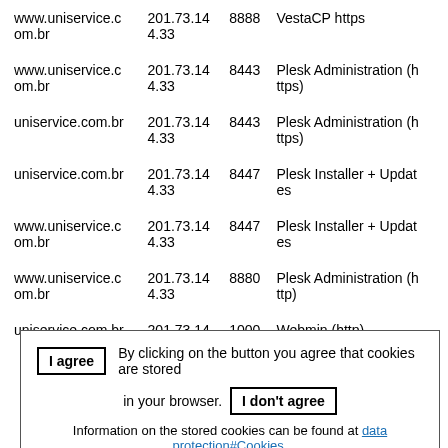| Host | IP | Port | Service |
| --- | --- | --- | --- |
| www.uniservice.com.br | 201.73.144.33 | 8888 | VestaCP https |
| www.uniservice.com.br | 201.73.144.33 | 8443 | Plesk Administration (https) |
| uniservice.com.br | 201.73.144.33 | 8443 | Plesk Administration (https) |
| uniservice.com.br | 201.73.144.33 | 8447 | Plesk Installer + Updates |
| www.uniservice.com.br | 201.73.144.33 | 8447 | Plesk Installer + Updates |
| www.uniservice.com.br | 201.73.144.33 | 8880 | Plesk Administration (http) |
| uniservice.com.br | 201.73.144.33 | 1000 | Webmin (http) |
I agree | By clicking on the button you agree that cookies are stored in your browser. | I don't agree | Information on the stored cookies can be found at data protection#Cookies.